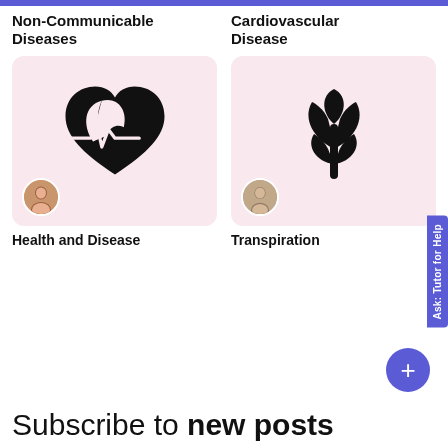Non-Communicable Diseases
Cardiovascular Disease
[Figure (illustration): Heart with leaf and heartbeat line icon on pink card background, with female avatar]
[Figure (illustration): Leaf/plant with medical cross icon on pink card background, with male avatar]
Health and Disease
Transpiration
Subscribe to new posts